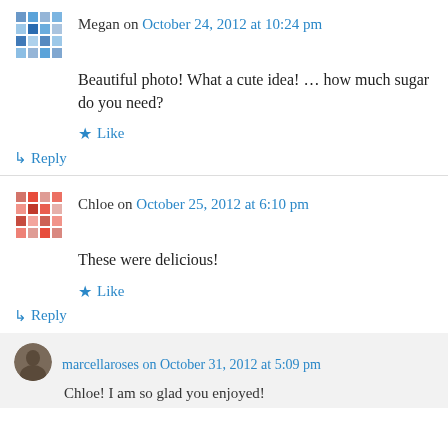Megan on October 24, 2012 at 10:24 pm
Beautiful photo! What a cute idea! … how much sugar do you need?
Like
↳ Reply
Chloe on October 25, 2012 at 6:10 pm
These were delicious!
Like
↳ Reply
marcellaroses on October 31, 2012 at 5:09 pm
Chloe! I am so glad you enjoyed!